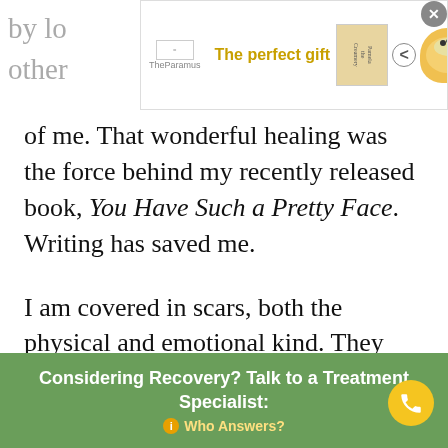[Figure (other): Advertisement banner: 'The perfect gift' with book images, navigation arrows, bowl image, and '35% OFF + FREE SHIPPING' offer]
of me. That wonderful healing was the force behind my recently released book, You Have Such a Pretty Face. Writing has saved me.
I am covered in scars, both the physical and emotional kind. They used to embarrass me and I would constantly try to hide them. Today, I am proud of my scars because I know they are evidence of my survival and proof that God refused to let go of me.
It is my prayer that by revealing my scars, others can
Considering Recovery? Talk to a Treatment Specialist: Who Answers?